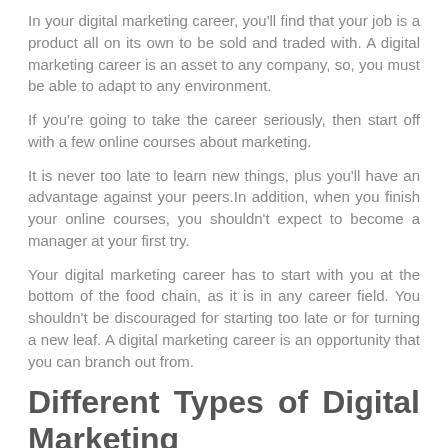In your digital marketing career, you'll find that your job is a product all on its own to be sold and traded with. A digital marketing career is an asset to any company, so, you must be able to adapt to any environment.
If you're going to take the career seriously, then start off with a few online courses about marketing.
It is never too late to learn new things, plus you'll have an advantage against your peers.In addition, when you finish your online courses, you shouldn't expect to become a manager at your first try.
Your digital marketing career has to start with you at the bottom of the food chain, as it is in any career field. You shouldn't be discouraged for starting too late or for turning a new leaf. A digital marketing career is an opportunity that you can branch out from.
Different Types of Digital Marketing
You may think that a digital marketing career revolves